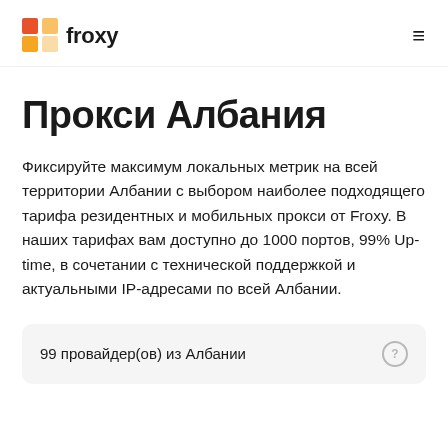froxy
Прокси Албания
Фиксируйте максимум локальных метрик на всей территории Албании с выбором наиболее подходящего тарифа резидентных и мобильных прокси от Froxy. В наших тарифах вам доступно до 1000 портов, 99% Up-time, в сочетании с технической поддержкой и актуальными IP-адресами по всей Албании.
99 провайдер(ов) из Албании